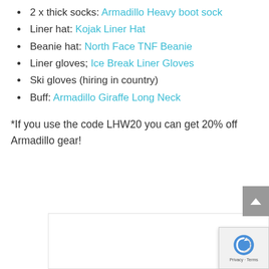2 x thick socks: Armadillo Heavy boot sock
Liner hat: Kojak Liner Hat
Beanie hat: North Face TNF Beanie
Liner gloves; Ice Break Liner Gloves
Ski gloves (hiring in country)
Buff: Armadillo Giraffe Long Neck
*If you use the code LHW20 you can get 20% off Armadillo gear!